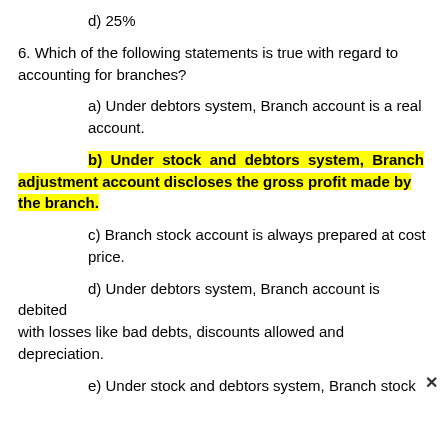d) 25%
6. Which of the following statements is true with regard to accounting for branches?
a) Under debtors system, Branch account is a real account.
b) Under stock and debtors system, Branch adjustment account discloses the gross profit made by the branch.
c) Branch stock account is always prepared at cost price.
d) Under debtors system, Branch account is debited with losses like bad debts, discounts allowed and depreciation.
e) Under stock and debtors system, Branch stock